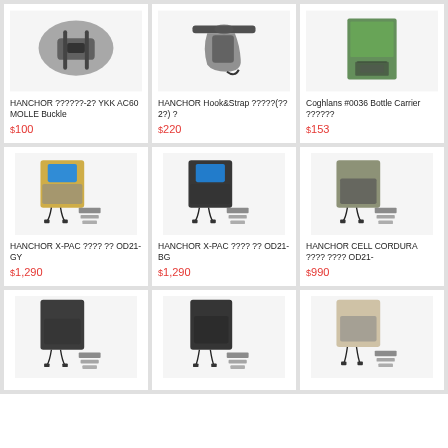[Figure (photo): HANCHOR product photo - buckle/strap]
HANCHOR ??????-2? YKK AC60 MOLLE Buckle
$100
[Figure (photo): HANCHOR Hook&Strap product photo]
HANCHOR Hook&Strap ?????(??2?) ?
$220
[Figure (photo): Coghlans #0036 Bottle Carrier product photo]
Coghlans #0036 Bottle Carrier ??????
$153
[Figure (photo): HANCHOR X-PAC pouch OD21-GY with cables]
HANCHOR X-PAC ???? ?? OD21-GY
$1,290
[Figure (photo): HANCHOR X-PAC pouch OD21-BG with cables]
HANCHOR X-PAC ???? ?? OD21-BG
$1,290
[Figure (photo): HANCHOR CELL CORDURA pouch OD21]
HANCHOR CELL CORDURA ???? ???? OD21-
$990
[Figure (photo): HANCHOR pouch product - bottom left]
[Figure (photo): HANCHOR pouch product - bottom center]
[Figure (photo): HANCHOR pouch product - bottom right]